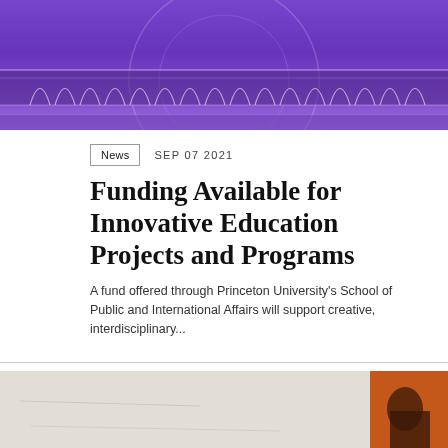[Figure (photo): Purple/violet toned architectural photo showing building facade with arched decorative details and geometric circle overlay]
News  SEP 07 2021
Funding Available for Innovative Education Projects and Programs
A fund offered through Princeton University's School of Public and International Affairs will support creative, interdisciplinary...
[Figure (photo): Partial photo showing textured concrete/stone wall with orange graphic element and partial text at bottom]